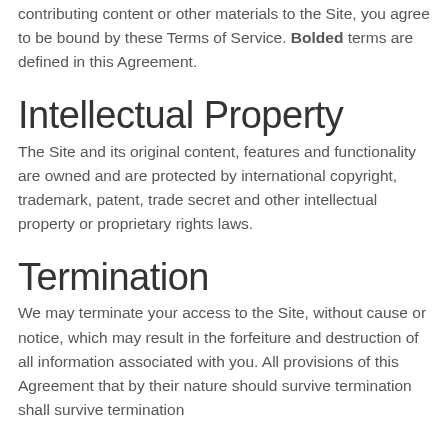contributing content or other materials to the Site, you agree to be bound by these Terms of Service. Bolded terms are defined in this Agreement.
Intellectual Property
The Site and its original content, features and functionality are owned and are protected by international copyright, trademark, patent, trade secret and other intellectual property or proprietary rights laws.
Termination
We may terminate your access to the Site, without cause or notice, which may result in the forfeiture and destruction of all information associated with you. All provisions of this Agreement that by their nature should survive termination shall survive termination